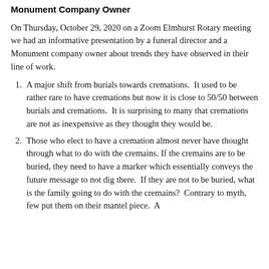Monument Company Owner
On Thursday, October 29, 2020 on a Zoom Elmhurst Rotary meeting we had an informative presentation by a funeral director and a Monument company owner about trends they have observed in their line of work.
A major shift from burials towards cremations. It used to be rather rare to have cremations but now it is close to 50/50 between burials and cremations. It is surprising to many that cremations are not as inexpensive as they thought they would be.
Those who elect to have a cremation almost never have thought through what to do with the cremains. If the cremains are to be buried, they need to have a marker which essentially conveys the future message to not dig there. If they are not to be buried, what is the family going to do with the cremains? Contrary to myth, few put them on their mantel piece. A